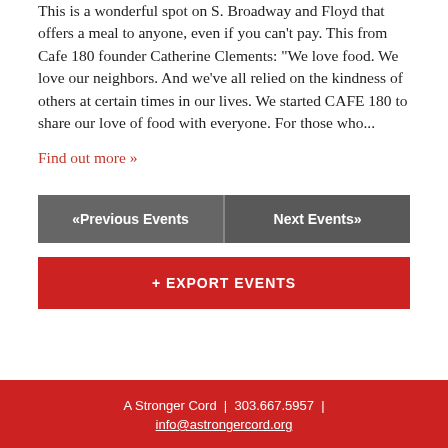This is a wonderful spot on S. Broadway and Floyd that offers a meal to anyone, even if you can't pay. This from Cafe 180 founder Catherine Clements: “We love food. We love our neighbors. And we've all relied on the kindness of others at certain times in our lives. We started CAFE 180 to share our love of food with everyone. For those who...
Find out more »
«Previous Events
Next Events»
+ EXPORT EVENTS
A Stronger Cord  |  303.667.5957  |  info@astrongercord.org